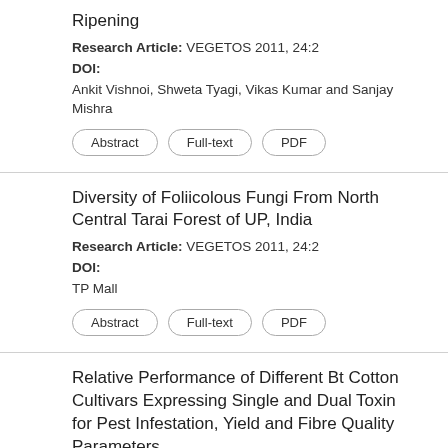Ripening
Research Article: VEGETOS 2011, 24:2
DOI:
Ankit Vishnoi, Shweta Tyagi, Vikas Kumar and Sanjay Mishra
Abstract | Full-text | PDF
Diversity of Foliicolous Fungi From North Central Tarai Forest of UP, India
Research Article: VEGETOS 2011, 24:2
DOI:
TP Mall
Abstract | Full-text | PDF
Relative Performance of Different Bt Cotton Cultivars Expressing Single and Dual Toxin for Pest Infestation, Yield and Fibre Quality Parameters